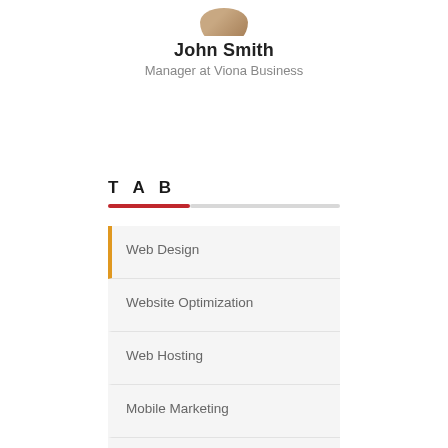[Figure (photo): Partial avatar/profile photo of a person, cropped at top]
John Smith
Manager at Viona Business
TAB
Web Design
Website Optimization
Web Hosting
Mobile Marketing
Video Marketing